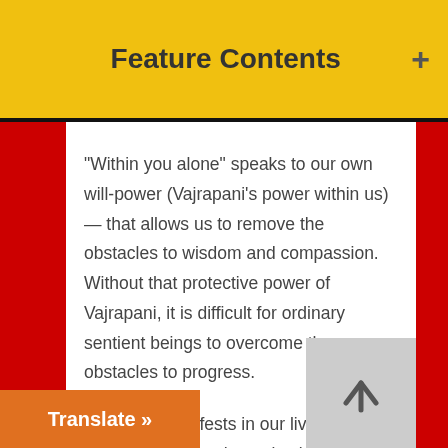Feature Contents
“Within you alone” speaks to our own will-power (Vajrapani’s power within us) — that allows us to remove the obstacles to wisdom and compassion. Without that protective power of Vajrapani, it is difficult for ordinary sentient beings to overcome the many obstacles to progress.
Vajrapani manifests in our lives daily (hopefully.) Even that voice in our mind, telling us to get up and meditate — instead of watching television — is Vajrapani at work. (Buddha’s Hand slapping us up the back of the head, metaphorically.)  Or, that feeling of guilt when you wal[k past a] person without helping — that’s Vajra[pani pushin]g us to be compassionate. It is Vajrapani